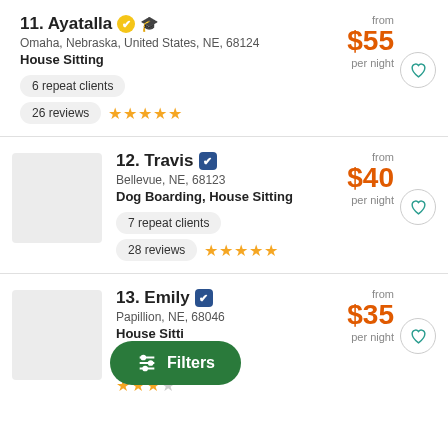11. Ayatalla — Omaha, Nebraska, United States, NE, 68124 — House Sitting — 6 repeat clients — 26 reviews — 5 stars — from $55 per night
12. Travis — Bellevue, NE, 68123 — Dog Boarding, House Sitting — 7 repeat clients — 28 reviews — 5 stars — from $40 per night
13. Emily — Papillion, NE, 68046 — House Sitting — 6 repeat clients — from $35 per night